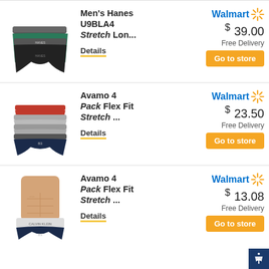[Figure (photo): Two boxer briefs stacked, black and teal/green colors]
Men's Hanes U9BLA4 Stretch Lon...
Details
Walmart $39.00 Free Delivery
Go to store
[Figure (photo): Four pack underwear briefs stacked - red, grey, grey, navy colors]
Avamo 4 Pack Flex Fit Stretch ...
Details
Walmart $23.50 Free Delivery
Go to store
[Figure (photo): Man wearing navy briefs with Calvin Klein waistband]
Avamo 4 Pack Flex Fit Stretch ...
Details
Walmart $13.08 Free Delivery
Go to store